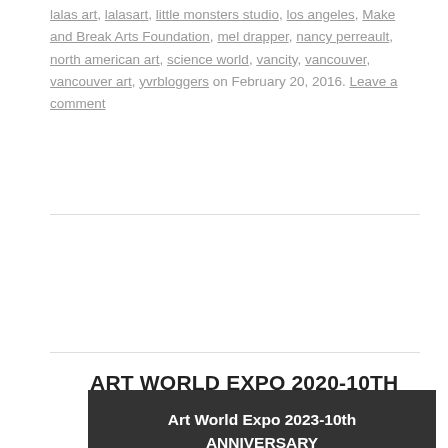lalas art, lalasart, little monsters studio, los angeles, Make and Break Arts Foundation, mel drapper, nancy perreault, north american art, science world, vancity, vancouver, vancouver art, yvrbloggers on February 20, 2016. Leave a comment
ART WORLD EXPO 2020-10TH ANNUAL EVENT MARCH 31, APRIL 1 & 2, 2023
[Figure (other): Dark banner box with white bold text reading 'Art World Expo 2023-10th ANNIVERSARY Annual Event' and 'March 31, 2023' centered below]